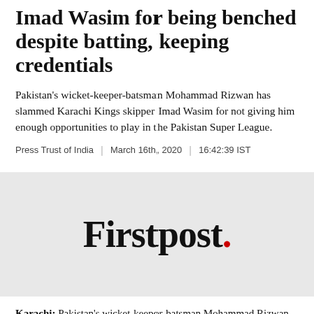Imad Wasim for being benched despite batting, keeping credentials
Pakistan's wicket-keeper-batsman Mohammad Rizwan has slammed Karachi Kings skipper Imad Wasim for not giving him enough opportunities to play in the Pakistan Super League.
Press Trust of India | March 16th, 2020 | 16:42:39 IST
[Figure (logo): Firstpost logo with red period/dot at end]
Karachi: Pakistan's wicket-keeper-batsman Mohammad Rizwan has slammed Karachi Kings skipper Imad Wasim for